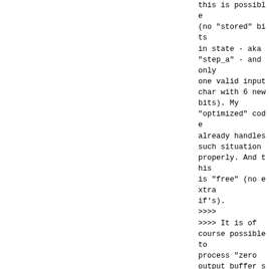this is possible
(no "stored" bits
in state - aka
"step_a" - and only
one valid input
char with 6 new
bits). My
"optimized" code
already handles
such situation
properly. And this
is "free" (no extra
if's).
>>>>
>>>> It is of
course possible to
process "zero
output buffer size"
situation properly
but it would
require additional
"if" in
base64_decode_block()
beginning and some
logic - and in
every case except
"step_a with no
more than one
useful input char"
would cause some